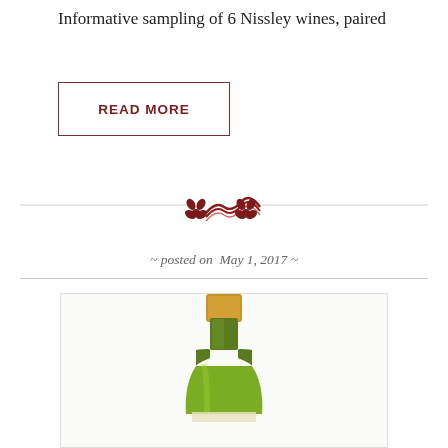Informative sampling of 6 Nissley wines, paired
READ MORE
[Figure (illustration): Decorative divider with dark red floral/leaf ornament in center and horizontal lines on either side]
~ posted on  May 1, 2017 ~
[Figure (photo): A green wine bottle with gold/bronze foil cap on white background inside a light bordered box]